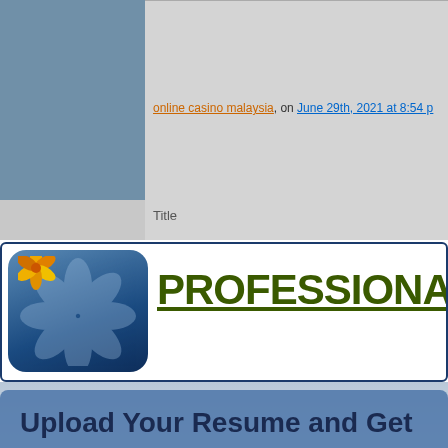online casino malaysia, on June 29th, 2021 at 8:54 p...
Title
PROFESSIONAL ADVI...
Upload Your Resume and Get
Daily Job Search Advice | Career Advancement Tips | Informative Articles on Life Lessons And much more...
Email Address
Upload Resume   Choose File   No file chosen